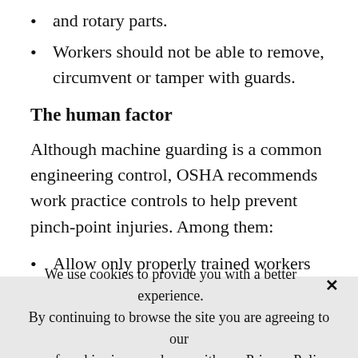and rotary parts.
Workers should not be able to remove, circumvent or tamper with guards.
The human factor
Although machine guarding is a common engineering control, OSHA recommends work practice controls to help prevent pinch-point injuries. Among them:
Allow only properly trained workers to operate and maintain equipment.
Inspect machines and guards often, keeping
We use cookies to provide you with a better experience. By continuing to browse the site you are agreeing to our use of cookies in accordance with our Privacy Policy.